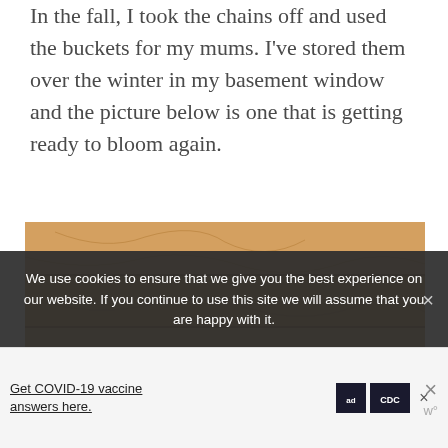In the fall, I took the chains off and used the buckets for my mums. I've stored them over the winter in my basement window and the picture below is one that is getting ready to bloom again.
[Figure (photo): A mum plant with green foliage showing small yellow buds, photographed against a wooden plank background, getting ready to bloom.]
We use cookies to ensure that we give you the best experience on our website. If you continue to use this site we will assume that you are happy with it.
Get COVID-19 vaccine answers here.